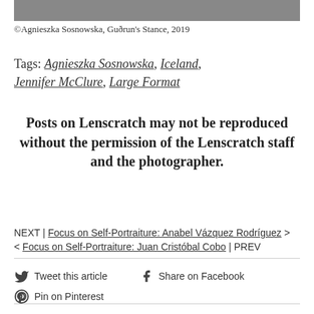[Figure (photo): Partial view of a black and white photograph (top strip visible)]
©Agnieszka Sosnowska, Guðrun's Stance, 2019
Tags: Agnieszka Sosnowska, Iceland, Jennifer McClure, Large Format
Posts on Lenscratch may not be reproduced without the permission of the Lenscratch staff and the photographer.
NEXT | Focus on Self-Portraiture: Anabel Vázquez Rodríguez >
< Focus on Self-Portraiture: Juan Cristóbal Cobo | PREV
Tweet this article   Share on Facebook
Pin on Pinterest